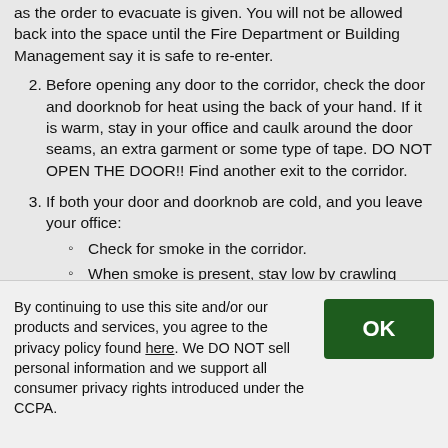as the order to evacuate is given. You will not be allowed back into the space until the Fire Department or Building Management say it is safe to re-enter.
2. Before opening any door to the corridor, check the door and doorknob for heat using the back of your hand. If it is warm, stay in your office and caulk around the door seams, an extra garment or some type of tape. DO NOT OPEN THE DOOR!! Find another exit to the corridor.
3. If both your door and doorknob are cold, and you leave your office: Check for smoke in the corridor. When smoke is present, stay low by crawling since clean air is closest to the floor. Everyone should proceed quickly, but calmly to the nearest stairwell. DO NOT RUN! All the stairwells are constructed with fire-resistant materials to provide safe evacuation for building occupants. DO NOT bring drinks and coffee cups into the stairwell
By continuing to use this site and/or our products and services, you agree to the privacy policy found here. We DO NOT sell personal information and we support all consumer privacy rights introduced under the CCPA.